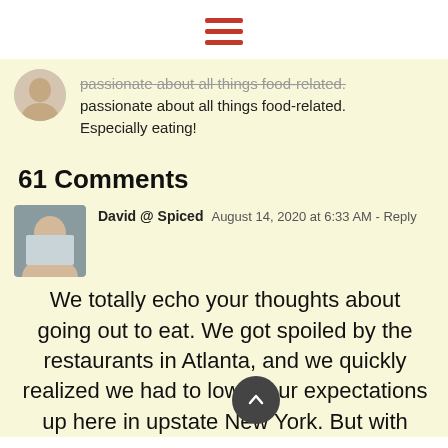[hamburger menu icon]
passionate about all things food-related. Especially eating!
61 Comments
David @ Spiced  August 14, 2020 at 6:33 AM - Reply
We totally echo your thoughts about going out to eat. We got spoiled by the restaurants in Atlanta, and we quickly realized we had to lower our expectations up here in upstate New York. But with